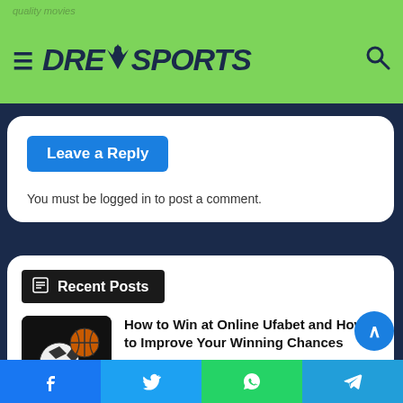DREYSPORTS
Leave a Reply
You must be logged in to post a comment.
Recent Posts
How to Win at Online Ufabet and How to Improve Your Winning Chances
1 day ago
How to Use Oxymetholone to increase Muscle Mass